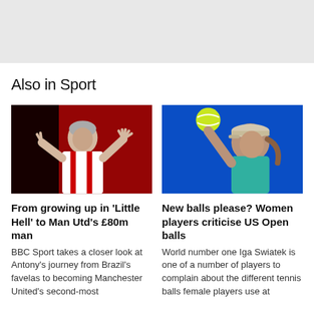[Figure (photo): Gray banner/header area at top of page]
Also in Sport
[Figure (photo): Football player in Ajax red and white kit making hand gestures against black and red background]
[Figure (photo): Female tennis player in teal top and cap tossing a yellow tennis ball against blue background]
From growing up in 'Little Hell' to Man Utd's £80m man
BBC Sport takes a closer look at Antony's journey from Brazil's favelas to becoming Manchester United's second-most
New balls please? Women players criticise US Open balls
World number one Iga Swiatek is one of a number of players to complain about the different tennis balls female players use at